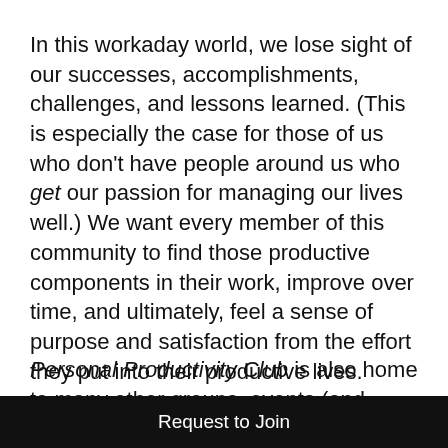In this workaday world, we lose sight of our successes, accomplishments, challenges, and lessons learned. (This is especially the case for those of us who don't have people around us who get our passion for managing our lives well.) We want every member of this community to find those productive components in their work, improve over time, and ultimately, feel a sense of purpose and satisfaction from the effort they put into their productive lives.
Personal Productivity Club is also home to many other groups, events (and
Request to Join